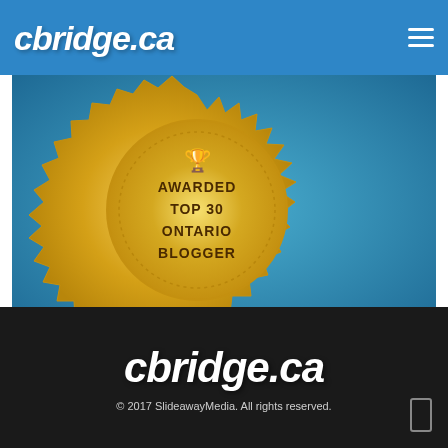cbridge.ca
[Figure (illustration): Gold award badge/seal on teal background reading 'AWARDED TOP 30 ONTARIO BLOGGER' with a trophy icon at the top]
[Figure (logo): cbridge.ca logo in white script font on dark background]
© 2017 SlideawayMedia. All rights reserved.